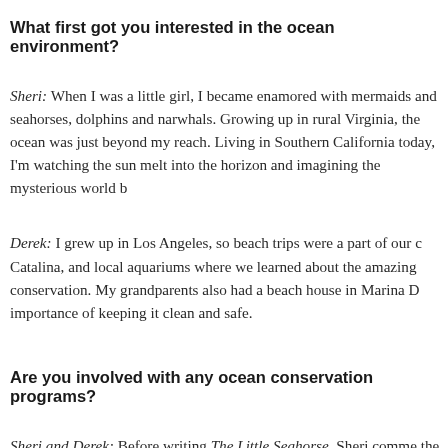What first got you interested in the ocean environment?
Sheri: When I was a little girl, I became enamored with mermaids and seahorses, dolphins and narwhals. Growing up in rural Virginia, the ocean was just beyond my reach. Living in Southern California today, I'm watching the sun melt into the horizon and imagining the mysterious world below.
Derek: I grew up in Los Angeles, so beach trips were a part of our culture. Catalina, and local aquariums where we learned about the amazing diversity of conservation. My grandparents also had a beach house in Marina Del Rey, so the importance of keeping it clean and safe.
Are you involved with any ocean conservation programs?
Sheri and Derek: Before writing The Little Seahorse, Sheri commenced visiting the Ocean Rider Seahorse Farm. They are dedicated to the conservation of endangered and have required extraordinary efforts to prevent from extinction the awareness about the plight of these fragile creatures. The Little Seahorse is sold in gift shops throughout North America, and proceeds from those sales...